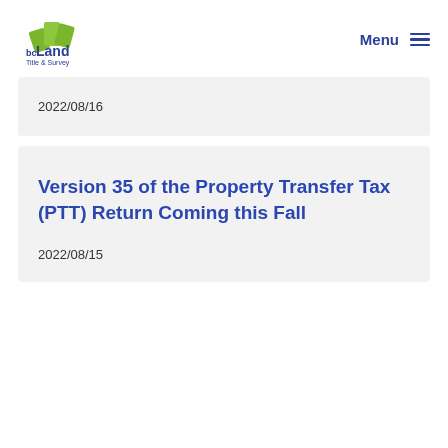bc Land Title & Survey | Menu
2022/08/16
Version 35 of the Property Transfer Tax (PTT) Return Coming this Fall
2022/08/15